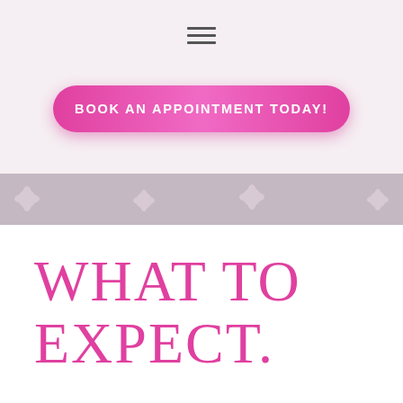[Figure (other): Hamburger menu icon with three horizontal lines centered at top of pink/lavender background]
BOOK AN APPOINTMENT TODAY!
[Figure (illustration): Gray banner strip with subtle floral/botanical pattern in lighter gray tones]
WHAT TO EXPECT.